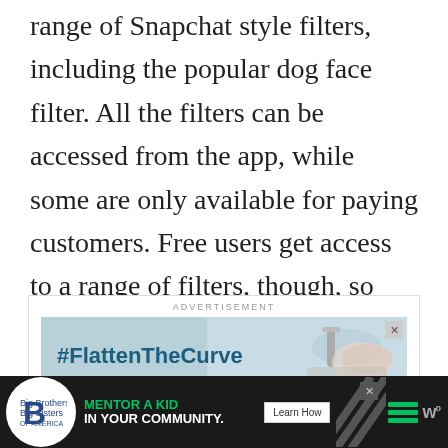range of Snapchat style filters, including the popular dog face filter. All the filters can be accessed from the app, while some are only available for paying customers. Free users get access to a range of filters, though, so we're not going to complain.
[Figure (screenshot): Advertisement banner with label 'ADVERTISEMENT' and #FlattenTheCurve ad with hand-washing imagery]
[Figure (screenshot): Bottom advertisement bar: Big Brothers Big Sisters logo, 'MENTOR A KID IN YOUR COMMUNITY.' text, Learn How button, diagonal pattern, hamburger menu icon, and weather icon]